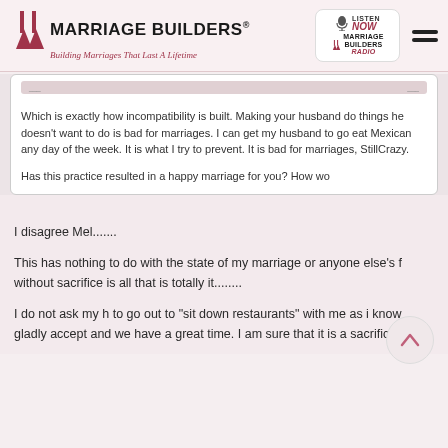Marriage Builders® — Building Marriages That Last A Lifetime | Listen Now — Marriage Builders Radio
Which is exactly how incompatibility is built. Making your husband do things he doesn't want to do is bad for marriages. I can get my husband to go eat Mexican any day of the week. It is what I try to prevent. It is bad for marriages, StillCrazy.
Has this practice resulted in a happy marriage for you? How wo
I disagree Mel.......
This has nothing to do with the state of my marriage or anyone else's f without sacrifice is all that is totally it........
I do not ask my h to go out to "sit down restaurants" with me as i know gladly accept and we have a great time. I am sure that it is a sacrifice t